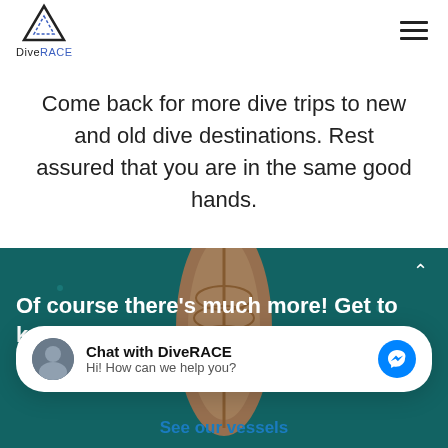[Figure (logo): DiveRACE logo: triangle outline with DiveRACE text below, RACE in blue]
Come back for more dive trips to new and old dive destinations. Rest assured that you are in the same good hands.
[Figure (photo): Aerial view of a wooden boat on teal/turquoise water]
Of course there's much more! Get to know
Chat with DiveRACE
Hi! How can we help you?
See our vessels